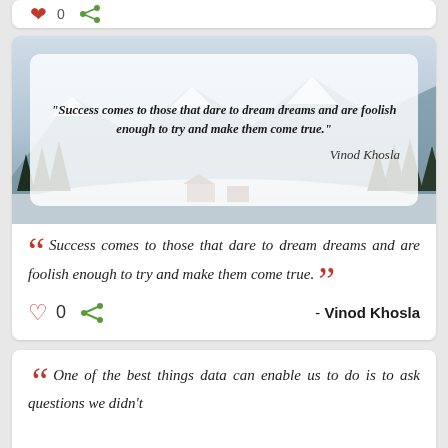[Figure (illustration): Social media app screenshot showing quote cards with heart and share icons at top]
[Figure (photo): Winter mountain scene with snow-covered landscape and pine trees, with white rounded overlay box containing quote text in bold italic: “Success comes to those that dare to dream dreams and are foolish enough to try and make them come true.” and author name Vinod Khosla in cursive]
““ Success comes to those that dare to dream dreams and are foolish enough to try and make them come true. ””
0
- Vinod Khosla
““ One of the best things data can enable us to do is to ask questions we didn’t